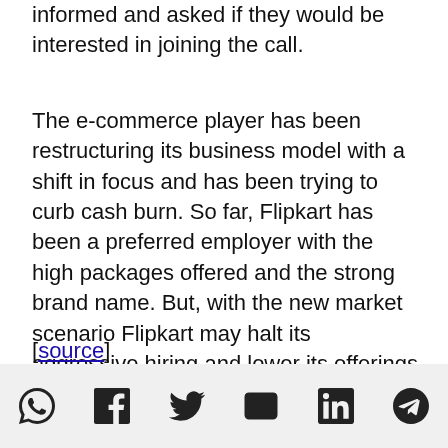informed and asked if they would be interested in joining the call.
The e-commerce player has been restructuring its business model with a shift in focus and has been trying to curb cash burn. So far, Flipkart has been a preferred employer with the high packages offered and the strong brand name. But, with the new market scenario Flipkart may halt its aggressive hiring and lower its offerings too.
[source]
[Figure (infographic): Social sharing icons row: WhatsApp, Facebook, Twitter, Email, LinkedIn, Telegram]